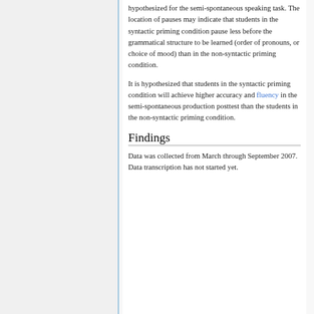hypothesized for the semi-spontaneous speaking task. The location of pauses may indicate that students in the syntactic priming condition pause less before the grammatical structure to be learned (order of pronouns, or choice of mood) than in the non-syntactic priming condition.
It is hypothesized that students in the syntactic priming condition will achieve higher accuracy and fluency in the semi-spontaneous production posttest than the students in the non-syntactic priming condition.
Findings
Data was collected from March through September 2007. Data transcription has not started yet.